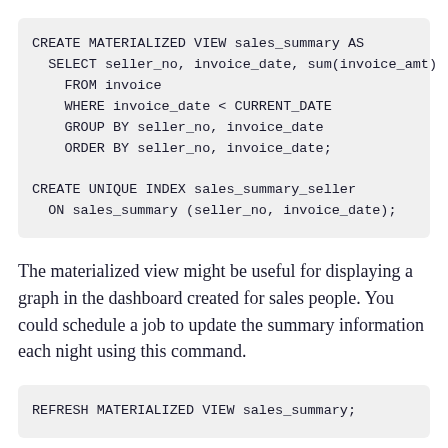CREATE MATERIALIZED VIEW sales_summary AS
  SELECT seller_no, invoice_date, sum(invoice_amt)
    FROM invoice
    WHERE invoice_date < CURRENT_DATE
    GROUP BY seller_no, invoice_date
    ORDER BY seller_no, invoice_date;

CREATE UNIQUE INDEX sales_summary_seller
  ON sales_summary (seller_no, invoice_date);
The materialized view might be useful for displaying a graph in the dashboard created for sales people. You could schedule a job to update the summary information each night using this command.
REFRESH MATERIALIZED VIEW sales_summary;
The information about a materialized view in the Greenplum Database system catalogs is exactly the same as it is for a table or view. A materialized view is a relation,